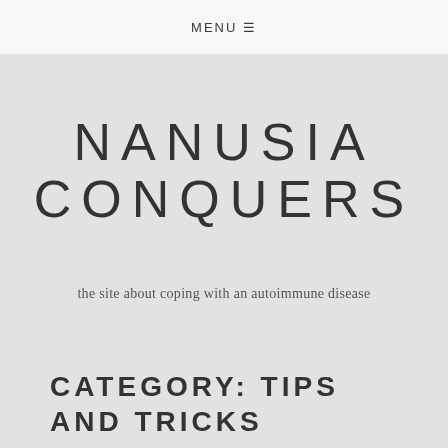MENU ☰
NANUSIA CONQUERS
the site about coping with an autoimmune disease
CATEGORY: TIPS AND TRICKS